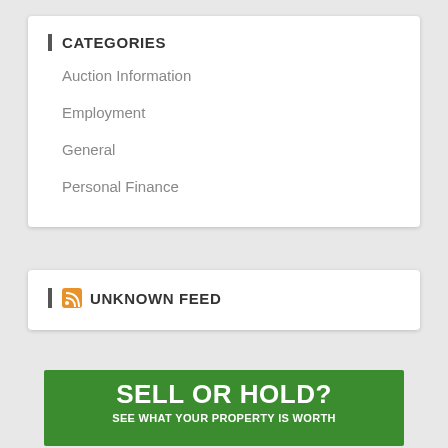CATEGORIES
Auction Information
Employment
General
Personal Finance
UNKNOWN FEED
[Figure (infographic): Green banner ad reading 'SELL OR HOLD? SEE WHAT YOUR PROPERTY IS WORTH']